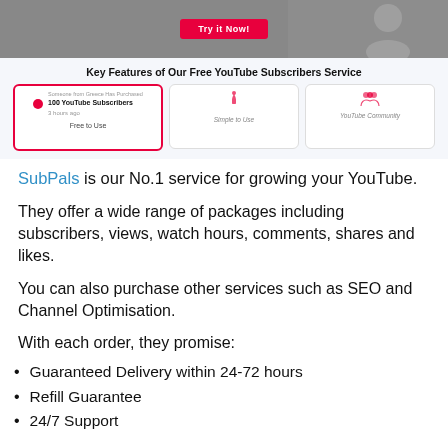[Figure (screenshot): Hero image with a red 'Try it Now!' button over a grey/dark background]
[Figure (screenshot): Key Features of Our Free YouTube Subscribers Service section showing three feature cards: a notification card, a hand/touch icon card labelled 'Simple to Use', and a people/community icon card labelled 'YouTube Community']
SubPals is our No.1 service for growing your YouTube.
They offer a wide range of packages including subscribers, views, watch hours, comments, shares and likes.
You can also purchase other services such as SEO and Channel Optimisation.
With each order, they promise:
Guaranteed Delivery within 24-72 hours
Refill Guarantee
24/7 Support